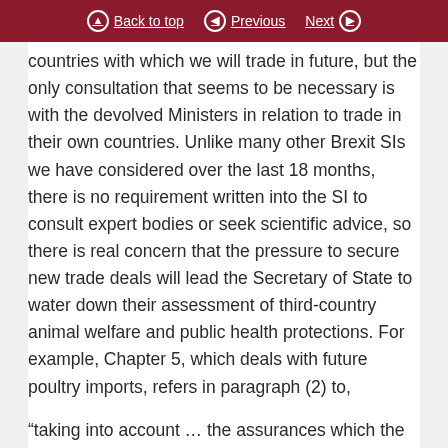Back to top | Previous | Next
countries with which we will trade in future, but the only consultation that seems to be necessary is with the devolved Ministers in relation to trade in their own countries. Unlike many other Brexit SIs we have considered over the last 18 months, there is no requirement written into the SI to consult expert bodies or seek scientific advice, so there is real concern that the pressure to secure new trade deals will lead the Secretary of State to water down their assessment of third-country animal welfare and public health protections. For example, Chapter 5, which deals with future poultry imports, refers in paragraph (2) to,
“taking into account … the assurances which the third country can give with regard to compliance with… their legislation…”